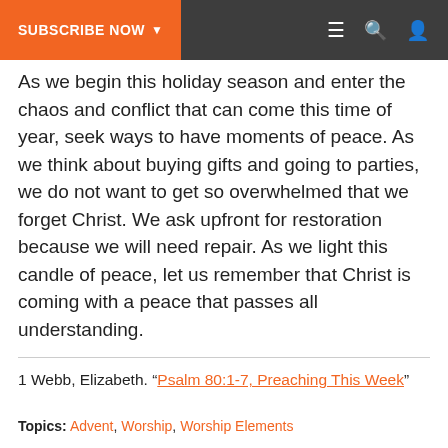SUBSCRIBE NOW ▾
As we begin this holiday season and enter the chaos and conflict that can come this time of year, seek ways to have moments of peace. As we think about buying gifts and going to parties, we do not want to get so overwhelmed that we forget Christ. We ask upfront for restoration because we will need repair. As we light this candle of peace, let us remember that Christ is coming with a peace that passes all understanding.
1 Webb, Elizabeth. "Psalm 80:1-7, Preaching This Week"
Topics: Advent, Worship, Worship Elements